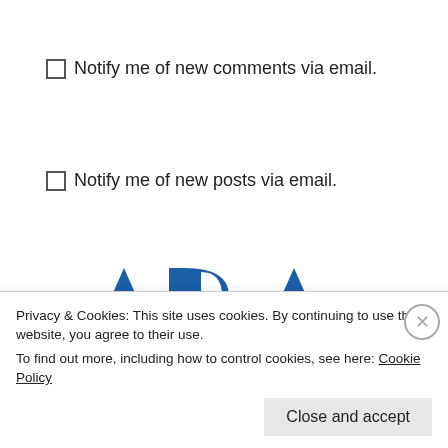Notify me of new comments via email.
Notify me of new posts via email.
[Figure (logo): American Bar Association logo with stylized ABA letters in dark blue, cyan and orange triangles, and text AMERICAN BAR ASSOCIATION below]
Commission on Lawyer
Privacy & Cookies: This site uses cookies. By continuing to use this website, you agree to their use.
To find out more, including how to control cookies, see here: Cookie Policy
Close and accept